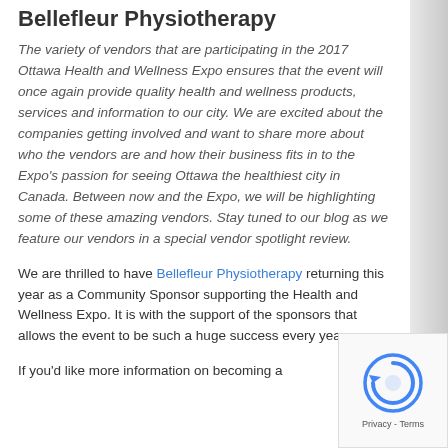Bellefleur Physiotherapy
The variety of vendors that are participating in the 2017 Ottawa Health and Wellness Expo ensures that the event will once again provide quality health and wellness products, services and information to our city.  We are excited about the companies getting involved and want to share more about who the vendors are and how their business fits in to the Expo's passion for seeing Ottawa the healthiest city in Canada.  Between now and the Expo, we will be highlighting some of these amazing vendors.  Stay tuned to our blog as we feature our vendors in a special vendor spotlight review.
We are thrilled to have Bellefleur Physiotherapy returning this year as a Community Sponsor supporting the Health and Wellness Expo. It is with the support of the sponsors that allows the event to be such a huge success every year.
If you'd like more information on becoming a